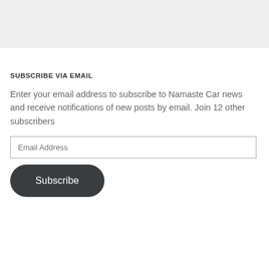[Figure (other): Gray header bar area at top of page]
SUBSCRIBE VIA EMAIL
Enter your email address to subscribe to Namaste Car news and receive notifications of new posts by email. Join 12 other subscribers
[Figure (other): Email Address input field]
[Figure (other): Subscribe button, dark rounded rectangle]